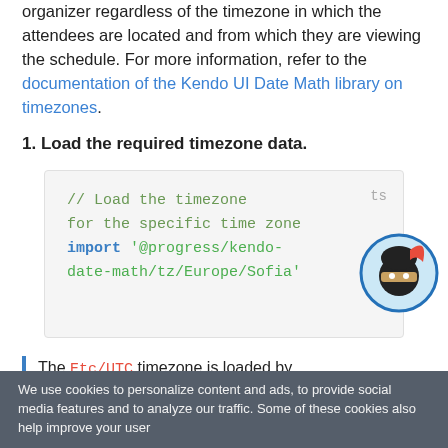organizer regardless of the timezone in which the attendees are located and from which they are viewing the schedule. For more information, refer to the documentation of the Kendo UI Date Math library on timezones.
1. Load the required timezone data.
[Figure (screenshot): Code block showing TypeScript code: comment '// Load the timezone' and 'for the specific time zone', then 'import '@progress/kendo-date-math/tz/Europe/Sofia'' with a ninja avatar overlay and 'ts' label]
The Etc/UTC timezone is loaded by
We use cookies to personalize content and ads, to provide social media features and to analyze our traffic. Some of these cookies also help improve your user